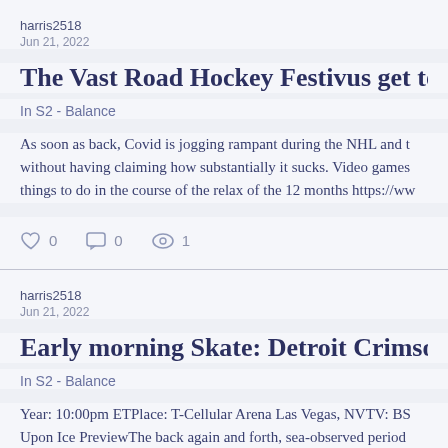harris2518
Jun 21, 2022
The Vast Road Hockey Festivus get together is postp
In S2 - Balance
As soon as back, Covid is jogging rampant during the NHL and t without having claiming how substantially it sucks. Video games things to do in the course of the relax of the 12 months https://ww
0   0   1
harris2518
Jun 21, 2022
Early morning Skate: Detroit Crimson Wings @ Veg
In S2 - Balance
Year: 10:00pm ETPlace: T-Cellular Arena Las Vegas, NVTV: BS Upon Ice PreviewThe back again and forth, sea-observed period